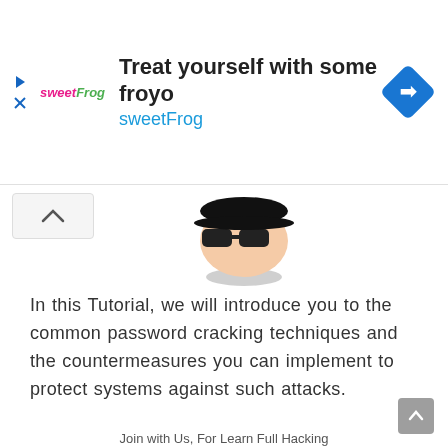[Figure (screenshot): Advertisement banner for sweetFrog with logo, title 'Treat yourself with some froyo', brand name 'sweetFrog', and a blue navigation diamond icon on the right]
[Figure (illustration): Partial illustration of a cartoon hacker/spy character with sunglasses, seen from above with a shadow ellipse below]
In this Tutorial, we will introduce you to the common password cracking techniques and the countermeasures you can implement to protect systems against such attacks.
[Figure (infographic): Blue Telegram 'JOIN WITH US' button with Telegram paper airplane logo circle on the left and bold white text 'JOIN WITH US' on the right]
Join with Us, For Learn Full Hacking